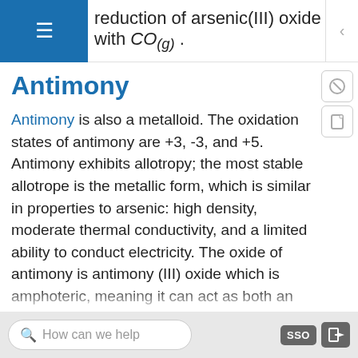reduction of arsenic(III) oxide with CO(g).
Antimony
Antimony is also a metalloid. The oxidation states of antimony are +3, -3, and +5. Antimony exhibits allotropy; the most stable allotrope is the metallic form, which is similar in properties to arsenic: high density, moderate thermal conductivity, and a limited ability to conduct electricity. The oxide of antimony is antimony (III) oxide which is amphoteric, meaning it can act as both an acid and a base. Antimony is obtained mainly from its sulfide ores, and it vaporizes at low temperatures. Along with arsenic, antimony is commonly used in alloys. Arsenic, antimony, and lead
How can we help